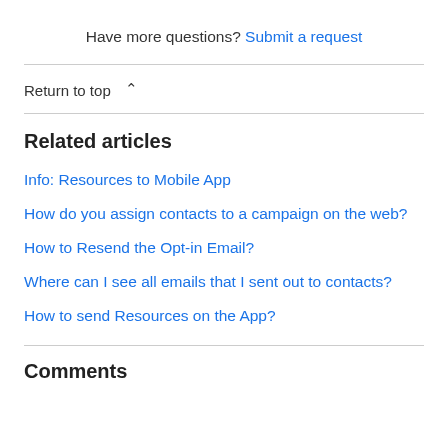Have more questions? Submit a request
Return to top ∧
Related articles
Info: Resources to Mobile App
How do you assign contacts to a campaign on the web?
How to Resend the Opt-in Email?
Where can I see all emails that I sent out to contacts?
How to send Resources on the App?
Comments